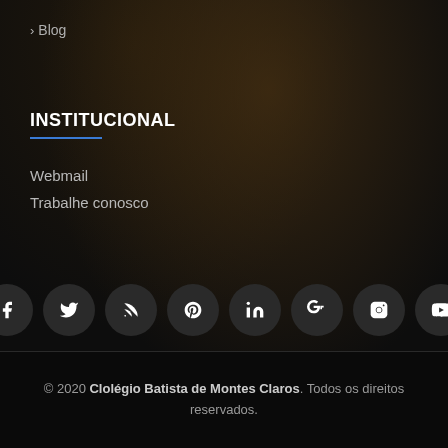> Blog
INSTITUCIONAL
Webmail
Trabalhe conosco
[Figure (infographic): Row of 8 social media icon buttons (circular dark buttons): Facebook, Twitter, RSS, Pinterest, LinkedIn, Google+, Instagram, YouTube]
© 2020 Clolégio Batista de Montes Claros. Todos os direitos reservados.